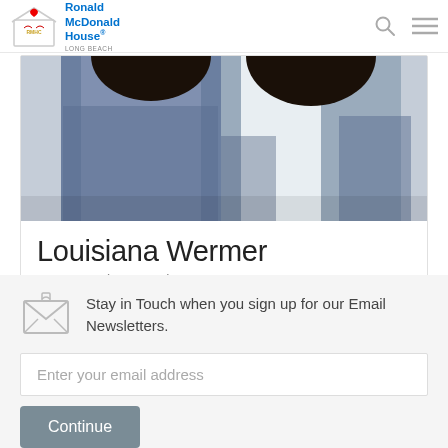[Figure (logo): Ronald McDonald House Charities RMHC Long Beach logo with house icon]
[Figure (photo): Two people wearing denim jackets, photo cropped to torso and hair]
Louisiana Wermer
Guest Service Associate
Stay in Touch when you sign up for our Email Newsletters.
Enter your email address
Continue